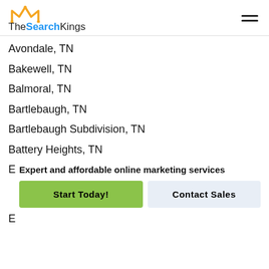TheSearchKings
Avondale, TN
Bakewell, TN
Balmoral, TN
Bartlebaugh, TN
Bartlebaugh Subdivision, TN
Battery Heights, TN
Expert and affordable online marketing services
Start Today! | Contact Sales